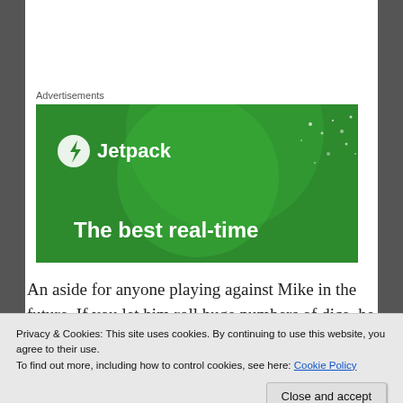Advertisements
[Figure (illustration): Jetpack advertisement banner with green background showing a lightning bolt logo, 'Jetpack' text, decorative circles, and the text 'The best real-time']
An aside for anyone playing against Mike in the future. If you let him roll huge numbers of dice, he will inevitably miss everything. I used this tip to my
Privacy & Cookies: This site uses cookies. By continuing to use this website, you agree to their use.
To find out more, including how to control cookies, see here: Cookie Policy
Close and accept